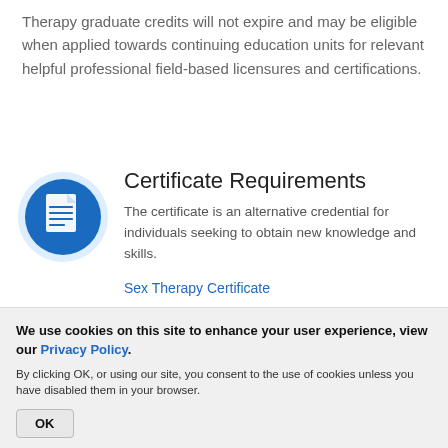Therapy graduate credits will not expire and may be eligible when applied towards continuing education units for relevant helpful professional field-based licensures and certifications.
[Figure (illustration): Blue circular icon with a white document/file graphic on it, with horizontal lines representing text on the document.]
Certificate Requirements
The certificate is an alternative credential for individuals seeking to obtain new knowledge and skills.
Sex Therapy Certificate
We use cookies on this site to enhance your user experience, view our Privacy Policy.
By clicking OK, or using our site, you consent to the use of cookies unless you have disabled them in your browser.
OK